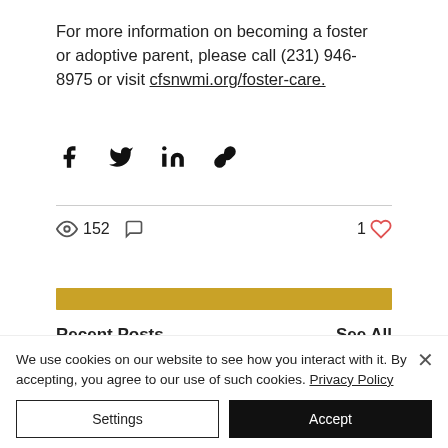For more information on becoming a foster or adoptive parent, please call (231) 946-8975 or visit cfsnwmi.org/foster-care.
[Figure (other): Social share icons: Facebook, Twitter, LinkedIn, link/copy]
152 views, 1 comment, 1 like
[Figure (other): Gold horizontal divider bar]
Recent Posts    See All
We use cookies on our website to see how you interact with it. By accepting, you agree to our use of such cookies. Privacy Policy
Settings
Accept